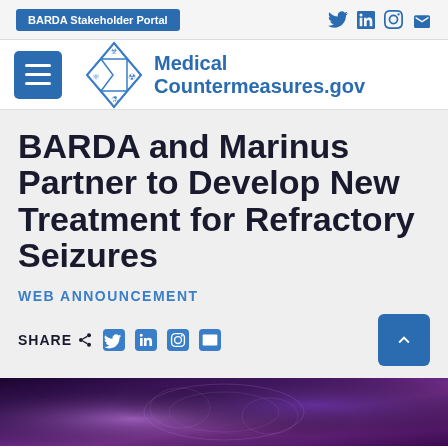BARDA Stakeholder Portal
[Figure (logo): Medical Countermeasures.gov logo with diamond-shaped icon containing biohazard, nuclear, and chemistry symbols]
BARDA and Marinus Partner to Develop New Treatment for Refractory Seizures
WEB ANNOUNCEMENT
SHARE
[Figure (photo): Brain scan / MRI image with purple and blue tones]